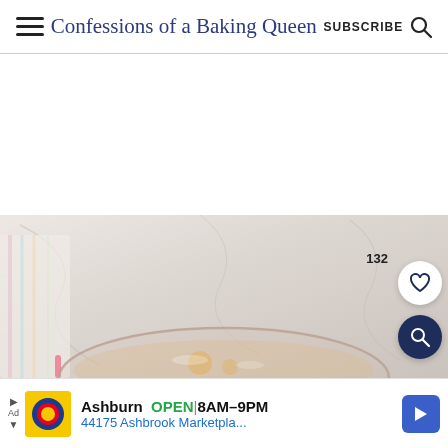Confessions of a Baking Queen | SUBSCRIBE
[Figure (photo): Top-down photo of a glass mixing bowl with batter/eggs on a marble surface, with a colorful cloth napkin and utensils to the left. The image is partially visible, showing the top portion of the bowl against a light marble background.]
132
Ashburn  OPEN  8AM–9PM
44175 Ashbrook Marketpla...